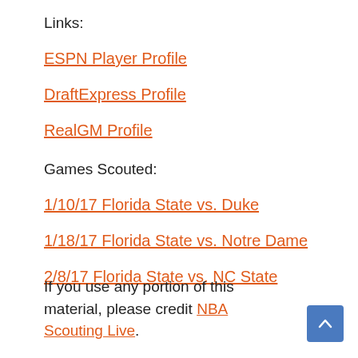Links:
ESPN Player Profile
DraftExpress Profile
RealGM Profile
Games Scouted:
1/10/17 Florida State vs. Duke
1/18/17 Florida State vs. Notre Dame
2/8/17 Florida State vs. NC State
If you use any portion of this material, please credit NBA Scouting Live.